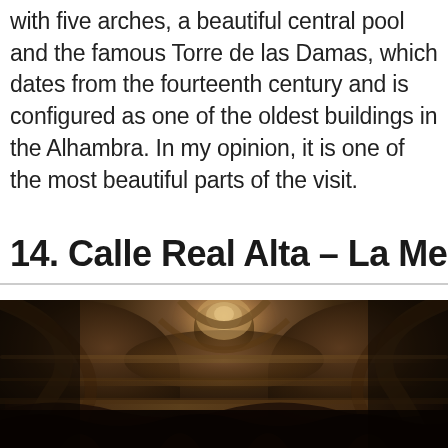with five arches, a beautiful central pool and the famous Torre de las Damas, which dates from the fourteenth century and is configured as one of the oldest buildings in the Alhambra. In my opinion, it is one of the most beautiful parts of the visit.
14. Calle Real Alta – La Medina
[Figure (photo): Interior ceiling photograph of an ornate Moorish/Islamic architectural space, showing intricate carved decorations, muqarnas (stalactite vaulting), arched forms and detailed geometric patterns on the ceiling and walls, photographed looking upward in dark warm tones of brown and gold.]